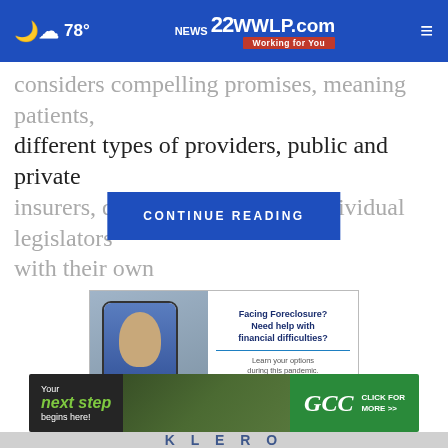78° | 22WWLP.com NEWS Working for You
considers competing promises, meaning patients, different types of providers, public and private insurers, drug companies, and individual legislators with their own
CONTINUE READING
[Figure (advertisement): Ad for foreclosure/financial difficulty help: shows a man on a phone screen with text 'Offering Phone & Video Consultations' and 'Facing Foreclosure? Need help with financial difficulties? Learn your options during this pandemic. Don't fall victim to scams.']
[Figure (advertisement): GCC college advertisement: 'Your next step begins here! CLICK FOR MORE >>']